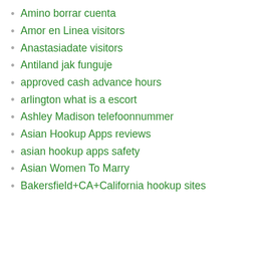Amino borrar cuenta
Amor en Linea visitors
Anastasiadate visitors
Antiland jak funguje
approved cash advance hours
arlington what is a escort
Ashley Madison telefoonnummer
Asian Hookup Apps reviews
asian hookup apps safety
Asian Women To Marry
Bakersfield+CA+California hookup sites